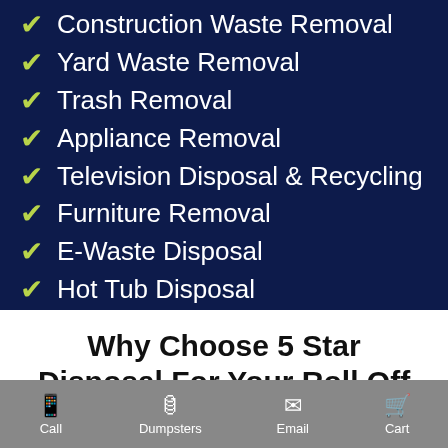Construction Waste Removal
Yard Waste Removal
Trash Removal
Appliance Removal
Television Disposal & Recycling
Furniture Removal
E-Waste Disposal
Hot Tub Disposal
Why Choose 5 Star Disposal For Your Roll Off Dumpster Rentals?
Call  Dumpsters  Email  Cart